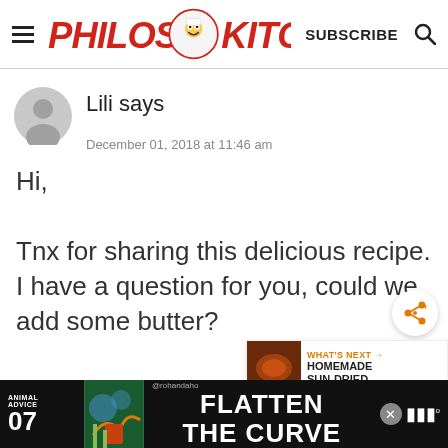Philos Kitchen — SUBSCRIBE
Lili says
December 01, 2018 at 11:46 am
Hi,

Tnx for sharing this delicious recipe. I have a question for you, could we add some butter?
[Figure (infographic): WHAT'S NEXT arrow label with HOMEMADE SUN-DRIED... text and food thumbnail]
[Figure (infographic): Ad banner: ANIMAL ADVICE 07 / FLATTEN THE CURVE with colorful illustration and @rohandaho handle and close button]